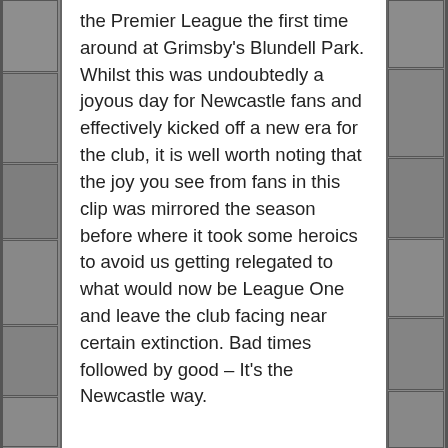the Premier League the first time around at Grimsby's Blundell Park. Whilst this was undoubtedly a joyous day for Newcastle fans and effectively kicked off a new era for the club, it is well worth noting that the joy you see from fans in this clip was mirrored the season before where it took some heroics to avoid us getting relegated to what would now be League One and leave the club facing near certain extinction. Bad times followed by good – It's the Newcastle way.